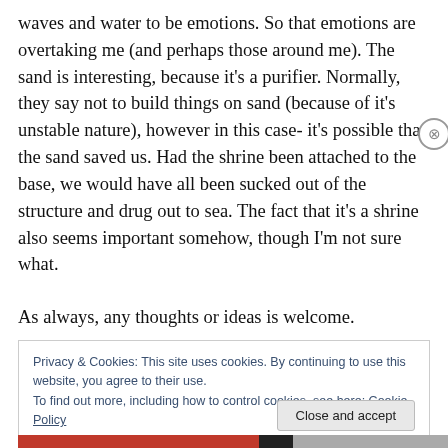waves and water to be emotions. So that emotions are overtaking me (and perhaps those around me). The sand is interesting, because it's a purifier. Normally, they say not to build things on sand (because of it's unstable nature), however in this case- it's possible that the sand saved us. Had the shrine been attached to the base, we would have all been sucked out of the structure and drug out to sea. The fact that it's a shrine also seems important somehow, though I'm not sure what.
As always, any thoughts or ideas is welcome.
Privacy & Cookies: This site uses cookies. By continuing to use this website, you agree to their use.
To find out more, including how to control cookies, see here: Cookie Policy
Close and accept